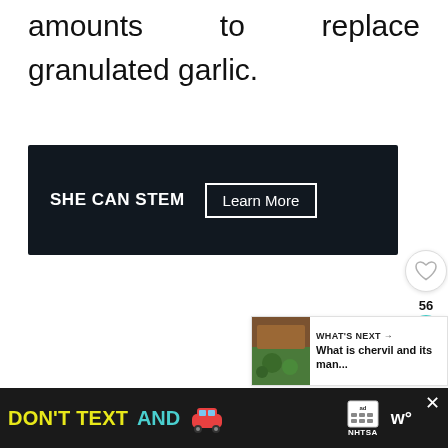cannot use garlic salt in large amounts to replace granulated garlic.
[Figure (screenshot): SHE CAN STEM advertisement banner with dark background, bold white text 'SHE CAN STEM' and a 'Learn More' button with white border]
[Figure (infographic): Right sidebar UI with heart/like icon button, share count showing 56, and teal share button]
[Figure (infographic): What's Next panel showing thumbnail image and text 'What is chervil and its man...']
[Figure (screenshot): NHTSA 'DON'T TEXT AND DRIVE' public service advertisement banner with dark background, yellow and teal text, car emoji, ad badge, and close button]